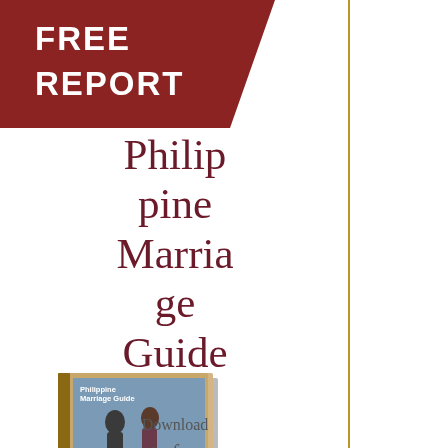FREE REPORT
Philippine Marriage Guide
[Figure (photo): Book cover thumbnail for Philippine Marriage Guide by Terry Shandy]
Download the free guide to getting married in the...